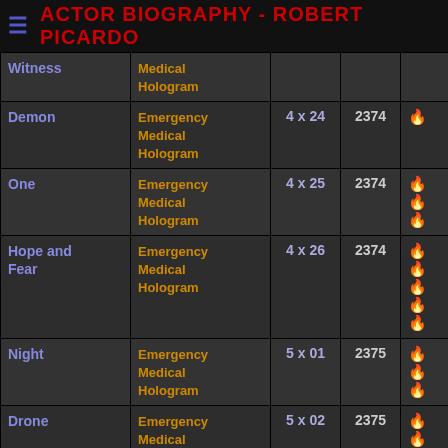ACTOR BIOGRAPHY - ROBERT PICARDO
| Episode | Role | Ep# | Year | Rating |
| --- | --- | --- | --- | --- |
| Witness | Medical Hologram |  |  |  |
| Demon | Emergency Medical Hologram | 4 x 24 | 2374 | 🔥 |
| One | Emergency Medical Hologram | 4 x 25 | 2374 | 🔥🔥🔥 |
| Hope and Fear | Emergency Medical Hologram | 4 x 26 | 2374 | 🔥🔥🔥🔥🔥 |
| Night | Emergency Medical Hologram | 5 x 01 | 2375 | 🔥🔥🔥 |
| Drone | Emergency Medical Hologram | 5 x 02 | 2375 | 🔥🔥🔥🔥 |
| Extreme Risk | Emergency Medical Hologram | 5 x 03 | 2375 | 🔥🔥 |